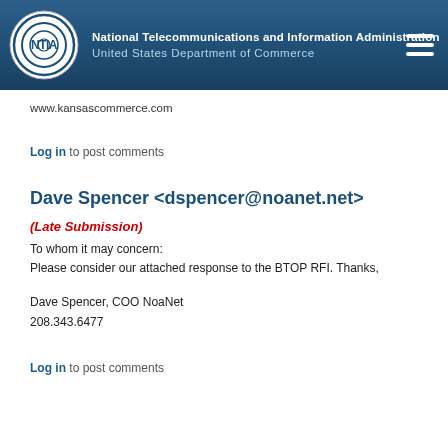National Telecommunications and Information Administration | United States Department of Commerce
www.kansascommerce.com
Log in to post comments
Dave Spencer <dspencer@noanet.net>
(Late Submission)
To whom it may concern:
Please consider our attached response to the BTOP RFI. Thanks,
Dave Spencer, COO NoaNet
208.343.6477
Log in to post comments